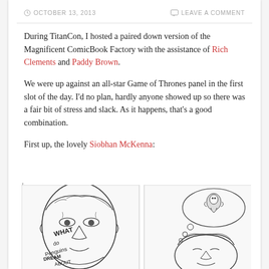OCTOBER 13, 2013    LEAVE A COMMENT
During TitanCon, I hosted a paired down version of the Magnificent ComicBook Factory with the assistance of Rich Clements and Paddy Brown.
We were up against an all-star Game of Thrones panel in the first slot of the day. I'd no plan, hardly anyone showed up so there was a fair bit of stress and slack. As it happens, that's a good combination.
First up, the lovely Siobhan McKenna:
[Figure (illustration): Two hand-drawn comic panels. Left panel shows a detailed pencil sketch of a man's face with text 'WHAT do Penguins DREAM ABOUT'. Right panel shows a man with a thought bubble containing a figure (penguin or similar character).]